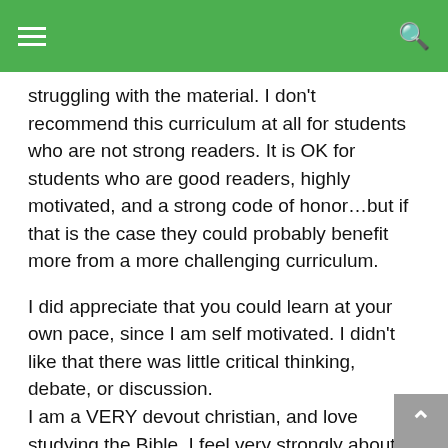≡  🔍
struggling with the material. I don't recommend this curriculum at all for students who are not strong readers. It is OK for students who are good readers, highly motivated, and a strong code of honor…but if that is the case they could probably benefit more from a more challenging curriculum.
I did appreciate that you could learn at your own pace, since I am self motivated. I didn't like that there was little critical thinking, debate, or discussion.
I am a VERY devout christian, and love studying the Bible. I feel very strongly about the importance of living a righteous life, and loving God with all your heart. That being said, even I found the moral and